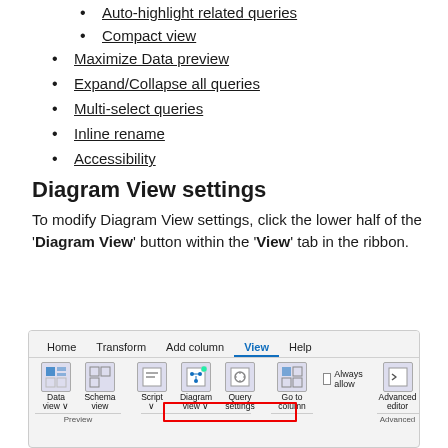Auto-highlight related queries
Compact view
Maximize Data preview
Expand/Collapse all queries
Multi-select queries
Inline rename
Accessibility
Diagram View settings
To modify Diagram View settings, click the lower half of the 'Diagram View' button within the 'View' tab in the ribbon.
[Figure (screenshot): Screenshot of Power Query ribbon showing the View tab active with tabs: Home, Transform, Add column, View, Help. Ribbon buttons visible: Data view, Schema view, Script, Diagram view, Query settings, Go to column, Always allow checkbox, Advanced editor. A red rectangle highlights a region at the bottom of the ribbon area.]